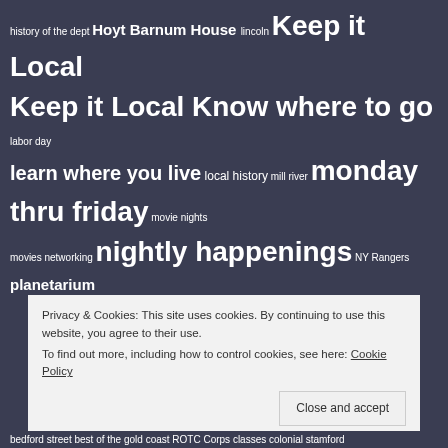[Figure (other): Tag cloud on dark background with various tags of different sizes related to Stamford CT local events and history]
Privacy & Cookies: This site uses cookies. By continuing to use this website, you agree to their use. To find out more, including how to control cookies, see here: Cookie Policy. Close and accept.
bedford street best of the gold coast ROTC Corps classes colonial stamford